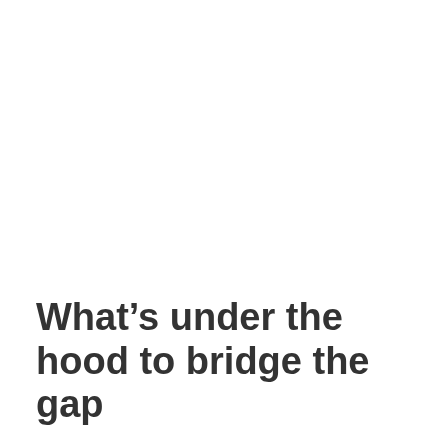What's under the hood to bridge the gap
ESG Book's platform gathers 450 data points on companies that they either report on themselves while using AI to analyze 30,000